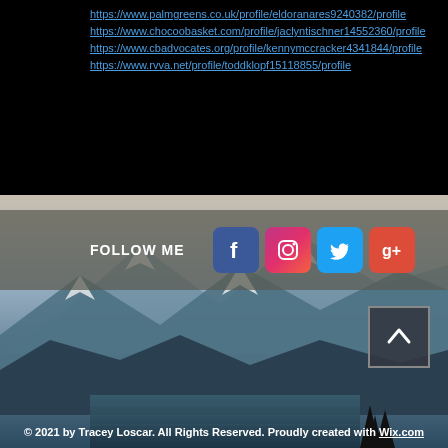https://www.palmgreens.co.uk/profile/eldorañares9240382/profile
https://www.chocoobasket.com/profile/jaclyntischner14552360/profile
https://www.cbadvocates.org/profile/kennymccracker4341844/profile
https://www.rvva.net/profile/toddklopf15118855/profile
FOLLOW ME
[Figure (illustration): Social media icons: Facebook (blue), Instagram (pink/red gradient), Twitter (light blue), and a partially visible fourth icon (red/orange)]
[Figure (photo): Mountain landscape with snow-capped peaks and a lake in the foreground, blue-grey tones]
[Figure (illustration): Back to top button with upward chevron arrow icon]
© 2021 by Tracey Loscar. All Rights Reserved. Proudly created with Wix.com